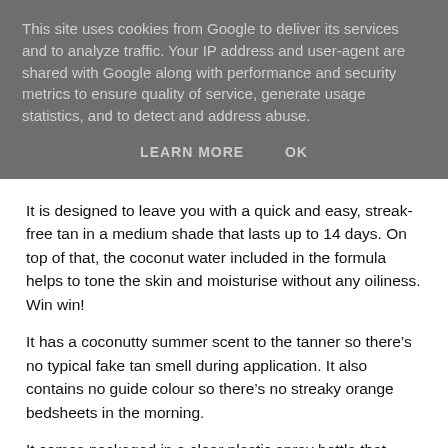This site uses cookies from Google to deliver its services and to analyze traffic. Your IP address and user-agent are shared with Google along with performance and security metrics to ensure quality of service, generate usage statistics, and to detect and address abuse.
LEARN MORE    OK
It is designed to leave you with a quick and easy, streak-free tan in a medium shade that lasts up to 14 days. On top of that, the coconut water included in the formula helps to tone the skin and moisturise without any oiliness. Win win!
It has a coconutty summer scent to the tanner so there’s no typical fake tan smell during application. It also contains no guide colour so there’s no streaky orange bedsheets in the morning.
It comes packaged in a clear plastic spray bottle that holds 150ml of product and the tanner itself is clear in colour also.
In addition to the Coconut Water Tanning Mist, I also have the Skinny Tan Body Tanning Mitt...